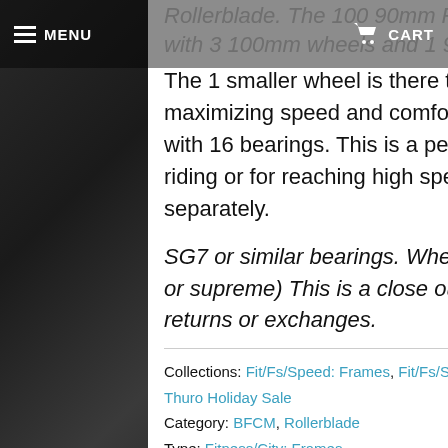MENU | CART
Rollerblade The 100 90mm Frame Kit comes with 3 100mm wheels and 1 90mm wheel.
The 1 smaller wheel is there to dip down with your foot, maximizing speed and comfort. The Frame kit also comes with 16 bearings. This is a perfect skate for smooth urban riding or for reaching high speeds. Frame bolts sold separately.
SG7 or similar bearings. Wheels may vary. (ie hydrogen or supreme) This is a close out item. All sales final. No returns or exchanges.
Collections: Fit/Fs/Speed: Frames, Fit/Fs/Speed: Gear & Parts, Shreds, Skates, Thuro Holiday Sale
Category: BFCM, Rollerblade
Type: Fitness/City: Frames